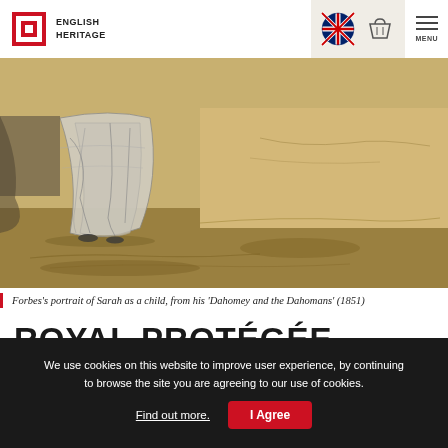ENGLISH HERITAGE
[Figure (illustration): A sketch/engraving of Sarah Forbes Bonetta as a child, showing the lower portion of a figure in a Victorian dress against a sandy/grassland background. From Forbes's 'Dahomey and the Dahomans' (1851).]
Forbes’s portrait of Sarah as a child, from his ‘Dahomey and the Dahomans’ (1851)
ROYAL PROTÉGÉE
Some months after their arrival in England, Forbes presented Sarah to Queen Victoria at Windsor Castle.
We use cookies on this website to improve user experience, by continuing to browse the site you are agreeing to our use of cookies.